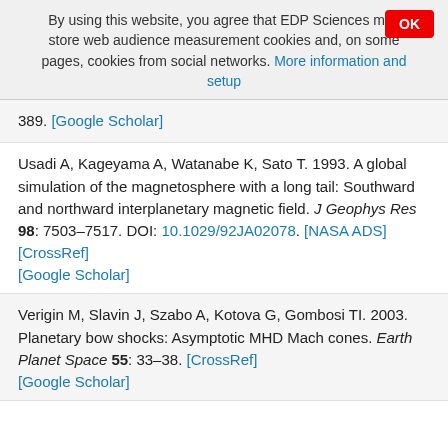By using this website, you agree that EDP Sciences may store web audience measurement cookies and, on some pages, cookies from social networks. More information and setup
389. [Google Scholar]
Usadi A, Kageyama A, Watanabe K, Sato T. 1993. A global simulation of the magnetosphere with a long tail: Southward and northward interplanetary magnetic field. J Geophys Res 98: 7503–7517. DOI: 10.1029/92JA02078. [NASA ADS] [CrossRef] [Google Scholar]
Verigin M, Slavin J, Szabo A, Kotova G, Gombosi TI. 2003. Planetary bow shocks: Asymptotic MHD Mach cones. Earth Planet Space 55: 33–38. [CrossRef] [Google Scholar]